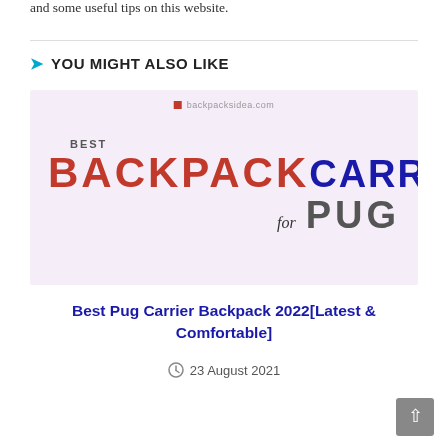and some useful tips on this website.
YOU MIGHT ALSO LIKE
[Figure (logo): Best Backpack Carrier for Pug logo image with red BACKPACK text and blue CARRIER text, watermark backpacksidea.com]
Best Pug Carrier Backpack 2022[Latest & Comfortable]
23 August 2021